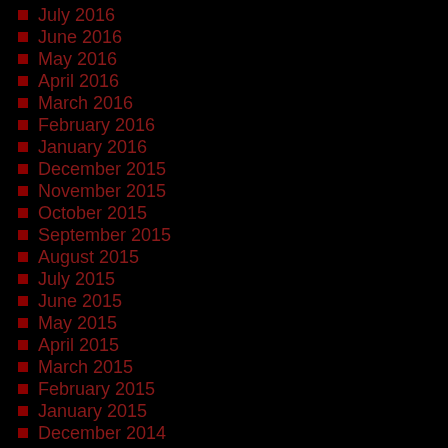July 2016
June 2016
May 2016
April 2016
March 2016
February 2016
January 2016
December 2015
November 2015
October 2015
September 2015
August 2015
July 2015
June 2015
May 2015
April 2015
March 2015
February 2015
January 2015
December 2014
November 2014
October 2014
September 2014